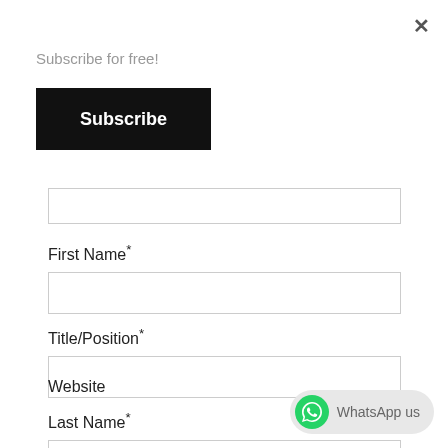×
Subscribe for free!
Subscribe
First Name*
Title/Position*
Last Name*
Website
WhatsApp us